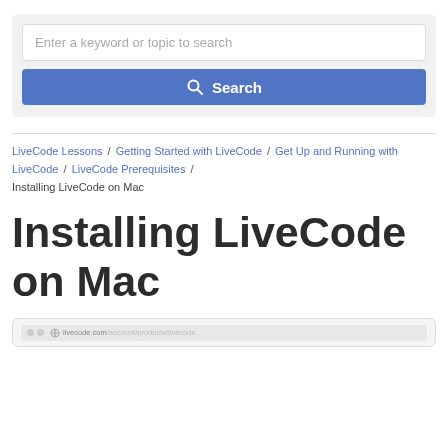[Figure (screenshot): Search box UI with text input placeholder 'Enter a keyword or topic to search' and a blue Search button with magnifying glass icon]
LiveCode Lessons / Getting Started with LiveCode / Get Up and Running with LiveCode / LiveCode Prerequisites / Installing LiveCode on Mac
Installing LiveCode on Mac
[Figure (screenshot): Browser screenshot showing livecode.com/account/products/livecode URL in browser bar]